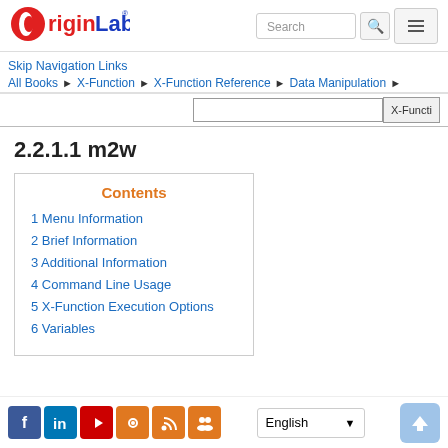[Figure (logo): OriginLab logo with red circle-O and blue Lab text]
Skip Navigation Links
All Books ▶ X-Function ▶ X-Function Reference ▶ Data Manipulation ▶
2.2.1.1 m2w
Contents
1 Menu Information
2 Brief Information
3 Additional Information
4 Command Line Usage
5 X-Function Execution Options
6 Variables
[Figure (infographic): Social media icons: Facebook, LinkedIn, YouTube, settings, RSS, groups]
English
[Figure (illustration): Up arrow button in light blue]